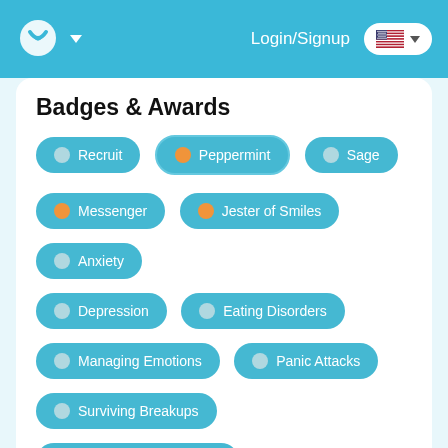Login/Signup
Badges & Awards
Recruit
Peppermint
Sage
Messenger
Jester of Smiles
Anxiety
Depression
Eating Disorders
Managing Emotions
Panic Attacks
Surviving Breakups
Traumatic Experiences
Crisis Intervention
Listener Oath
Work Related Stress
Self Harm